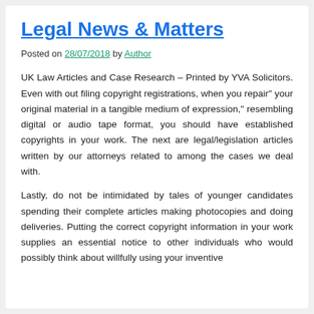Legal News & Matters
Posted on 28/07/2018 by Author
UK Law Articles and Case Research – Printed by YVA Solicitors. Even with out filing copyright registrations, when you repair" your original material in a tangible medium of expression," resembling digital or audio tape format, you should have established copyrights in your work. The next are legal/legislation articles written by our attorneys related to among the cases we deal with.
Lastly, do not be intimidated by tales of younger candidates spending their complete articles making photocopies and doing deliveries. Putting the correct copyright information in your work supplies an essential notice to other individuals who would possibly think about willfully using your inventive